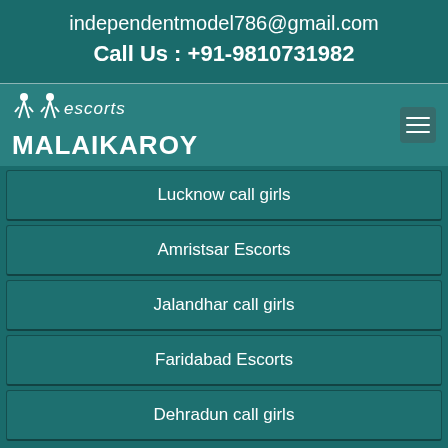independentmodel786@gmail.com
Call Us : +91-9810731982
[Figure (logo): Escorts Malaikaroy logo with female silhouettes and text]
Lucknow call girls
Amristsar Escorts
Jalandhar call girls
Faridabad Escorts
Dehradun call girls